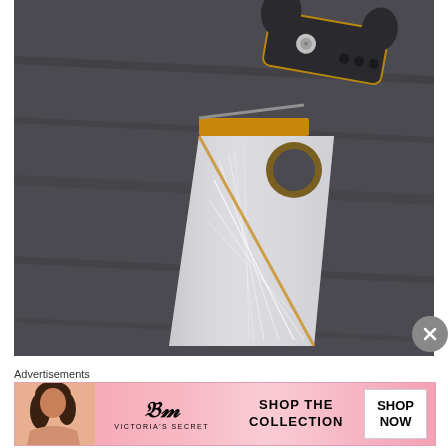[Figure (photo): Close-up photo of a folding knife with an engraved/etched blade showing abstract line patterns, dark handle with bronze/gold accents, and a finger hole in the blade. The knife rests on a dark wooden surface.]
Advertisements
[Figure (photo): Victoria's Secret advertisement banner. Pink background with a model on the left, Victoria's Secret logo in the center, text reading 'SHOP THE COLLECTION', and a white 'SHOP NOW' button on the right.]